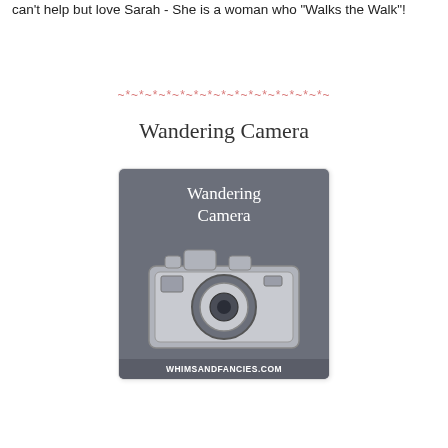can't help but love Sarah - She is a woman who "Walks the Walk"!
~*~*~*~*~*~*~*~*~*~*~*~*~*~*~*~
Wandering Camera
[Figure (logo): Logo for Wandering Camera on whimsandfancies.com: grey square with white cursive text 'Wandering Camera' and a white camera illustration, URL at the bottom.]